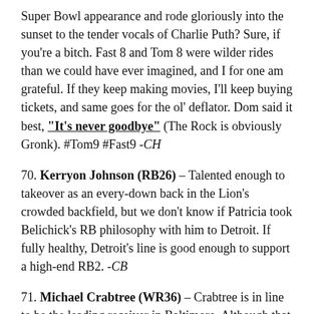Super Bowl appearance and rode gloriously into the sunset to the tender vocals of Charlie Puth? Sure, if you're a bitch. Fast 8 and Tom 8 were wilder rides than we could have ever imagined, and I for one am grateful. If they keep making movies, I'll keep buying tickets, and same goes for the ol' deflator. Dom said it best, "It's never goodbye" (The Rock is obviously Gronk). #Tom9 #Fast9 -CH
70. Kerryon Johnson (RB26) – Talented enough to takeover as an every-down back in the Lion's crowded backfield, but we don't know if Patricia took Belichick's RB philosophy with him to Detroit. If fully healthy, Detroit's line is good enough to support a high-end RB2. -CB
71. Michael Crabtree (WR36) – Crabtree is in line to be the leading receiver in Baltimore. Although that sentence doesn't exactly turn any heads, Crabtree